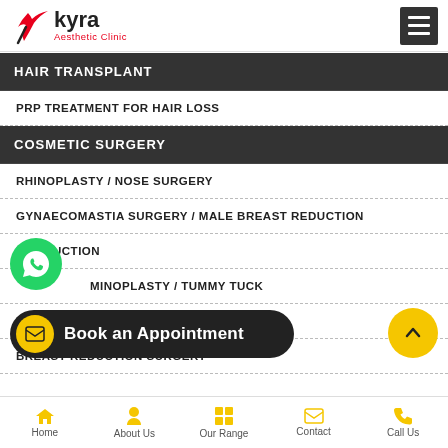[Figure (logo): Kyra Aesthetic Clinic logo with bird/tick mark in red and black, clinic name in black with red Aesthetic Clinic subtitle]
HAIR TRANSPLANT
PRP TREATMENT FOR HAIR LOSS
COSMETIC SURGERY
RHINOPLASTY / NOSE SURGERY
GYNAECOMASTIA SURGERY / MALE BREAST REDUCTION
LIPOSUCTION
MINOPLASTY / TUMMY TUCK
FACIAL FAT GRAFTING
BREAST REDUCTION SURGERY
Home | About Us | Our Range | Contact | Call Us